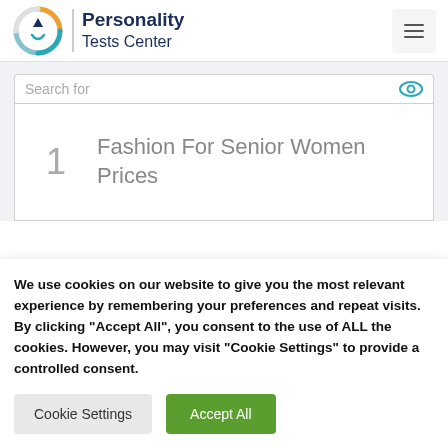[Figure (logo): Personality Tests Center logo with circular icon and text]
Search for
1  Fashion For Senior Women Prices
We use cookies on our website to give you the most relevant experience by remembering your preferences and repeat visits. By clicking “Accept All”, you consent to the use of ALL the cookies. However, you may visit "Cookie Settings" to provide a controlled consent.
Cookie Settings  Accept All